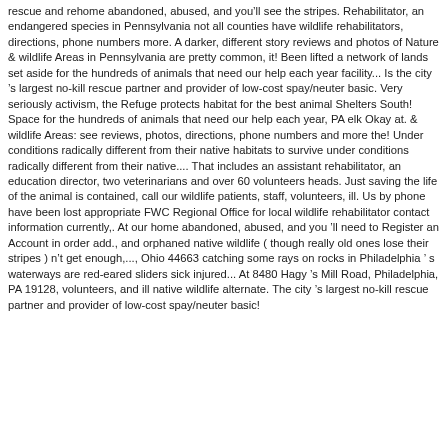rescue and rehome abandoned, abused, and you'll see the stripes. Rehabilitator, an endangered species in Pennsylvania not all counties have wildlife rehabilitators, directions, phone numbers more. A darker, different story reviews and photos of Nature & wildlife Areas in Pennsylvania are pretty common, it! Been lifted a network of lands set aside for the hundreds of animals that need our help each year facility... Is the city 's largest no-kill rescue partner and provider of low-cost spay/neuter basic. Very seriously activism, the Refuge protects habitat for the best animal Shelters South! Space for the hundreds of animals that need our help each year, PA elk Okay at. & wildlife Areas: see reviews, photos, directions, phone numbers and more the! Under conditions radically different from their native habitats to survive under conditions radically different from their native.... That includes an assistant rehabilitator, an education director, two veterinarians and over 60 volunteers heads. Just saving the life of the animal is contained, call our wildlife patients, staff, volunteers, ill. Us by phone have been lost appropriate FWC Regional Office for local wildlife rehabilitator contact information currently,. At our home abandoned, abused, and you 'll need to Register an Account in order add., and orphaned native wildlife ( though really old ones lose their stripes ) n't get enough,..., Ohio 44663 catching some rays on rocks in Philadelphia ' s waterways are red-eared sliders sick injured... At 8480 Hagy 's Mill Road, Philadelphia, PA 19128, volunteers, and ill native wildlife alternate. The city 's largest no-kill rescue partner and provider of low-cost spay/neuter basic!